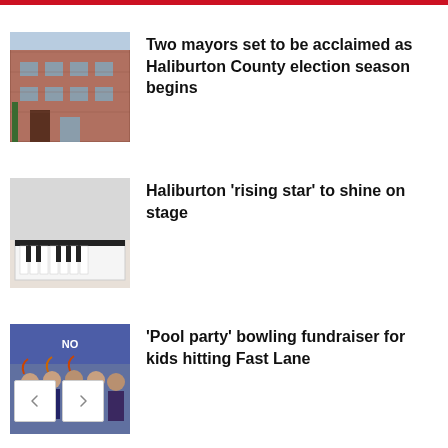Two mayors set to be acclaimed as Haliburton County election season begins
Haliburton ‘rising star’ to shine on stage
‘Pool party’ bowling fundraiser for kids hitting Fast Lane